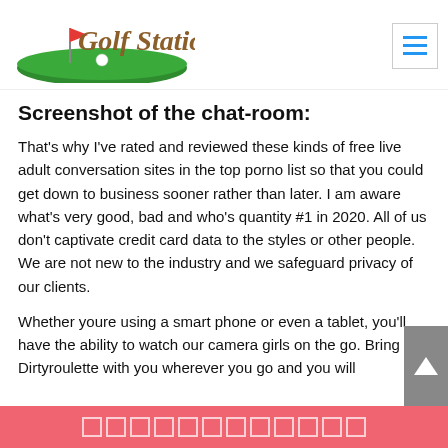[Figure (logo): Golf Station logo with golf flag, golf ball, and green turf graphic. Text reads 'Golf Station' in brown/gold serif font.]
Screenshot of the chat-room:
That's why I've rated and reviewed these kinds of free live adult conversation sites in the top porno list so that you could get down to business sooner rather than later. I am aware what's very good, bad and who's quantity #1 in 2020. All of us don't captivate credit card data to the styles or other people. We are not new to the industry and we safeguard privacy of our clients.
Whether youre using a smart phone or even a tablet, you'll have the ability to watch our camera girls on the go. Bring Dirtyroulette with you wherever you go and you will
□□□□□□□□□□□□